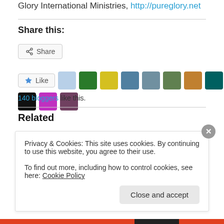Glory International Ministries, http://pureglory.net
Share this:
Share (button)
Like (button) — 140 bloggers like this.
Related
Privacy & Cookies: This site uses cookies. By continuing to use this website, you agree to their use. To find out more, including how to control cookies, see here: Cookie Policy
Close and accept (button)